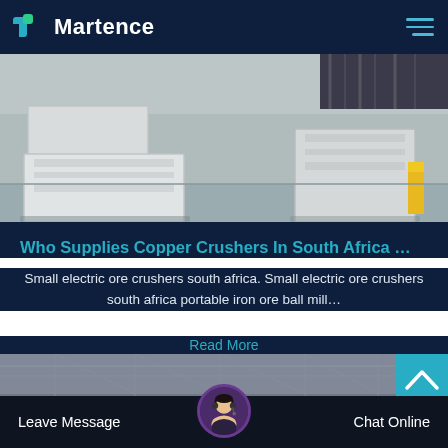Martence
[Figure (photo): Industrial crusher machine equipment in a factory/workshop setting, white/grey metal machinery on concrete floor]
Who Supplies Copper Crushers In South Africa …
Small electric ore crushers south africa. Small electric ore crushers south africa portable iron ore ball mill…
Read More
[Figure (photo): Industrial factory interior with ceiling structure, customer service agent avatar, and chat interface bar at bottom]
Leave Message
Chat Online